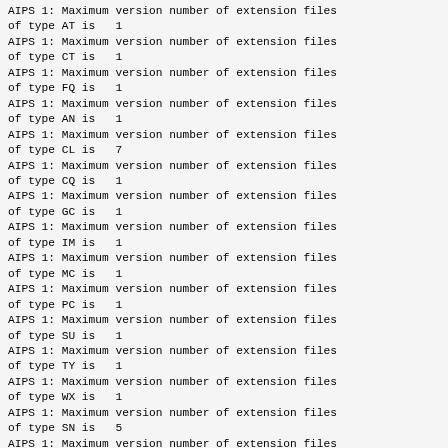AIPS 1: Maximum version number of extension files of type AT is   1
AIPS 1: Maximum version number of extension files of type CT is   1
AIPS 1: Maximum version number of extension files of type FQ is   1
AIPS 1: Maximum version number of extension files of type AN is   1
AIPS 1: Maximum version number of extension files of type CL is   7
AIPS 1: Maximum version number of extension files of type CQ is   1
AIPS 1: Maximum version number of extension files of type GC is   1
AIPS 1: Maximum version number of extension files of type IM is   1
AIPS 1: Maximum version number of extension files of type MC is   1
AIPS 1: Maximum version number of extension files of type PC is   1
AIPS 1: Maximum version number of extension files of type SU is   1
AIPS 1: Maximum version number of extension files of type TY is   1
AIPS 1: Maximum version number of extension files of type WX is   1
AIPS 1: Maximum version number of extension files of type SN is   5
AIPS 1: Maximum version number of extension files of type BP is   1
AIPS 1: Maximum version number of extension files of type FG is   1